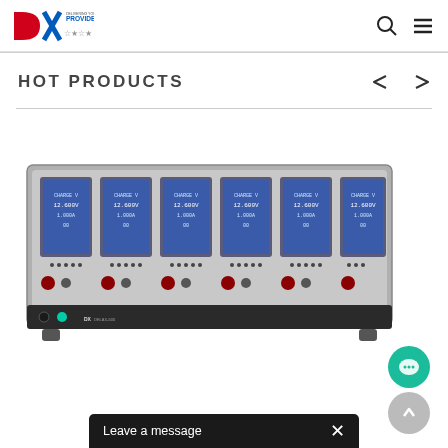DX PROVIDER — HOT PRODUCTS navigation header with search and menu icons
HOT PRODUCTS
[Figure (photo): Multi-channel battery testing or power supply equipment with 6 LCD display screens (blue backlit), control knobs and buttons on a metal panel, branded DX.]
Leave a message